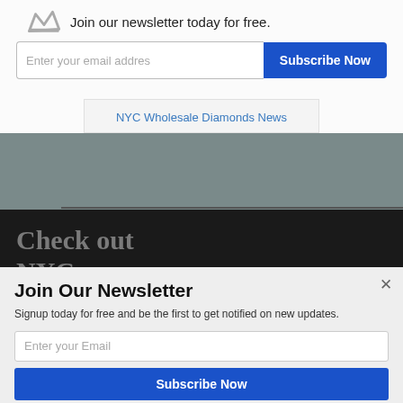Join our newsletter today for free.
Enter your email addres
Subscribe Now
NYC Wholesale Diamonds News
[Figure (screenshot): Dark banner with text 'Check out NYC Wholesale Diamond's blog posts!' in large gray serif font on black background]
POWERED BY SUMO
Join Our Newsletter
Signup today for free and be the first to get notified on new updates.
Enter your Email
Subscribe Now